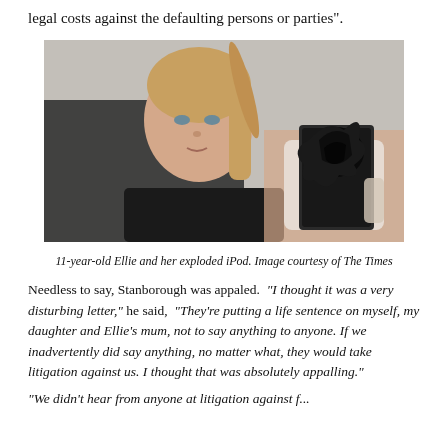legal costs against the defaulting persons or parties".
[Figure (photo): A young girl (11-year-old Ellie) holding up a damaged/exploded iPod while looking at the camera. She has blonde hair in a ponytail and is wearing a black top. The background is a light gray wall.]
11-year-old Ellie and her exploded iPod. Image courtesy of The Times
Needless to say, Stanborough was appaled. "I thought it was a very disturbing letter," he said, "They're putting a life sentence on myself, my daughter and Ellie's mum, not to say anything to anyone. If we inadvertently did say anything, no matter what, they would take litigation against us. I thought that was absolutely appalling."
"We didn't hear from anyone at litigation against f..."